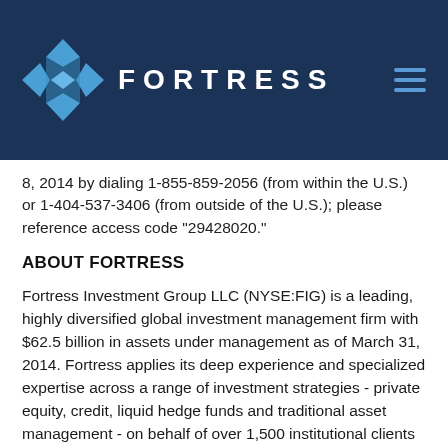[Figure (logo): Fortress Investment Group logo — blue diamond/cross geometric icon with FORTRESS text in white capital letters on dark navy background, with hamburger menu icon on right]
8, 2014 by dialing 1-855-859-2056 (from within the U.S.) or 1-404-537-3406 (from outside of the U.S.); please reference access code "29428020."
ABOUT FORTRESS
Fortress Investment Group LLC (NYSE:FIG) is a leading, highly diversified global investment management firm with $62.5 billion in assets under management as of March 31, 2014. Fortress applies its deep experience and specialized expertise across a range of investment strategies - private equity, credit, liquid hedge funds and traditional asset management - on behalf of over 1,500 institutional clients and private investors worldwide. For more information regarding Fortress Investment Group